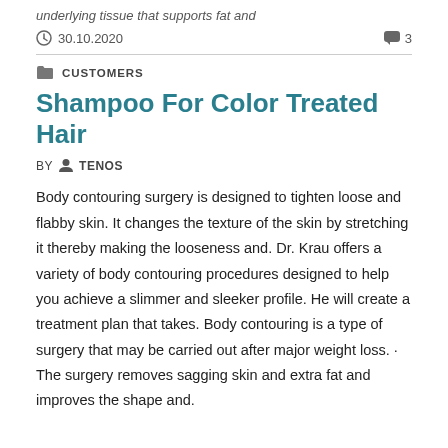underlying tissue that supports fat and
30.10.2020   3
CUSTOMERS
Shampoo For Color Treated Hair
BY  TENOS
Body contouring surgery is designed to tighten loose and flabby skin. It changes the texture of the skin by stretching it thereby making the looseness and. Dr. Krau offers a variety of body contouring procedures designed to help you achieve a slimmer and sleeker profile. He will create a treatment plan that takes. Body contouring is a type of surgery that may be carried out after major weight loss. · The surgery removes sagging skin and extra fat and improves the shape and.